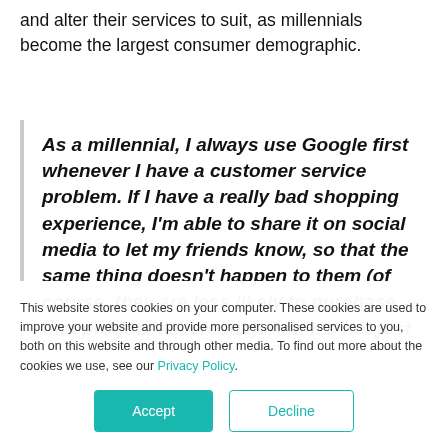and alter their services to suit, as millennials become the largest consumer demographic.
As a millennial, I always use Google first whenever I have a customer service problem. If I have a really bad shopping experience, I'm able to share it on social media to let my friends know, so that the same thing doesn't happen to them (of course, they are less likely to purchase that product as a result). And it's not just me. Most of my millennial friends do the same thing
This website stores cookies on your computer. These cookies are used to improve your website and provide more personalised services to you, both on this website and through other media. To find out more about the cookies we use, see our Privacy Policy.